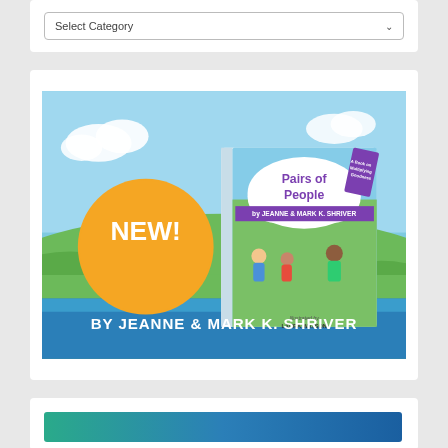[Figure (screenshot): A dropdown select box with label 'Select Category' and a down arrow chevron on the right, inside a white rounded card on a light gray background.]
[Figure (illustration): Book advertisement image for 'Pairs of People' by Jeanne & Mark K. Shriver. Features a colorful children's book cover with cartoon illustrations of diverse children and adults. A large orange circle with 'NEW!' in white bold text is on the left. The book cover shows 'Pairs of People' in purple text on a white cloud shape, with 'by JEANNE & MARK K. SHRIVER' in a purple banner. Blue bottom band reads 'BY JEANNE & MARK K. SHRIVER' in white bold letters. Illustrated by Laura Watson. Tag reads 'A Book on Multiplying Goodness'.]
[Figure (illustration): Partial view of another advertisement card at the bottom, showing a teal/blue gradient background strip, partially cut off.]